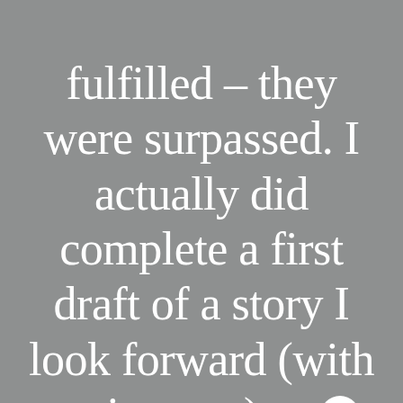fulfilled – they were surpassed. I actually did complete a first draft of a story I look forward (with excitement) to ?